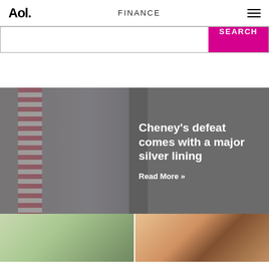Aol. FINANCE
[Figure (screenshot): AOL Finance page with search bar, hero news story about Cheney's defeat with a silver lining, and two thumbnail images below]
Cheney’s defeat comes with a major silver lining
Read More »